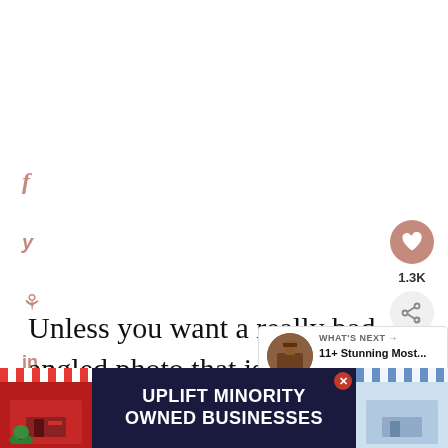[Figure (screenshot): Social media share sidebar with Facebook, Twitter, Pinterest, and LinkedIn icons in muted rose/terracotta color on left side of page]
[Figure (other): Heart/save button (terracotta circle with heart icon) showing 1.3K saves, and a share button below it, positioned at right side]
Unless you want a really bad angled photo that is almost vertical, I wo across the street to observe it in the m
[Figure (other): What's Next overlay widget showing a thumbnail of a building and text: WHAT'S NEXT → 11+ Stunning Most...]
[Figure (other): Advertisement banner: UPLIFT MINORITY OWNED BUSINESSES with storefront illustrations on left and right sides and a close (x) button]